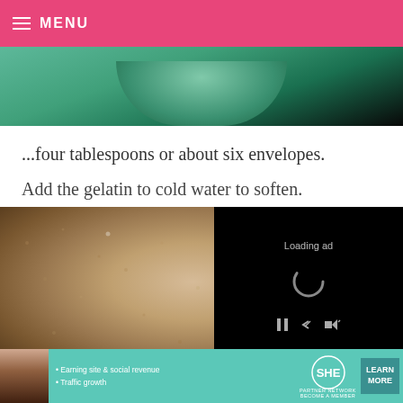MENU
[Figure (photo): Close-up photo of a green bowl on a green surface, partially visible at top]
...four tablespoons or about six envelopes.
Add the gelatin to cold water to soften.
[Figure (photo): Split image: left side shows a close-up photo of textured skin/surface with small dots; right side shows a black video player overlay with 'Loading ad' text, a spinner icon, and playback controls]
[Figure (other): Advertisement banner for SHE Partner Network showing a woman's photo, bullet points about 'Earning site & social revenue' and 'Traffic growth', the SHE logo, and a 'LEARN MORE' button]